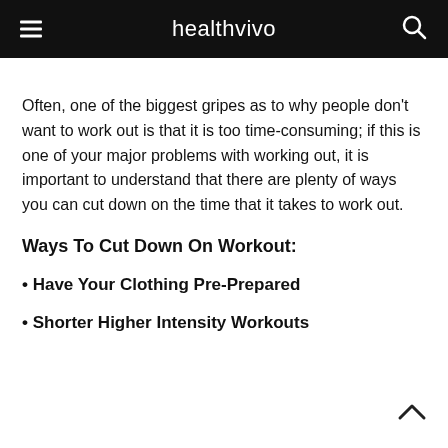healthvivo
Often, one of the biggest gripes as to why people don't want to work out is that it is too time-consuming; if this is one of your major problems with working out, it is important to understand that there are plenty of ways you can cut down on the time that it takes to work out.
Ways To Cut Down On Workout:
• Have Your Clothing Pre-Prepared
• Shorter Higher Intensity Workouts